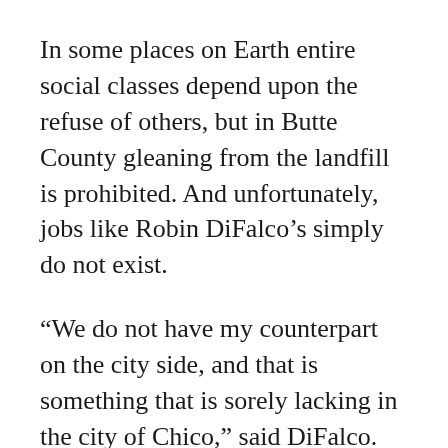In some places on Earth entire social classes depend upon the refuse of others, but in Butte County gleaning from the landfill is prohibited. And unfortunately, jobs like Robin DiFalco's simply do not exist.
“We do not have my counterpart on the city side, and that is something that is sorely lacking in the city of Chico,” said DiFalco.
Meanwhile, other California